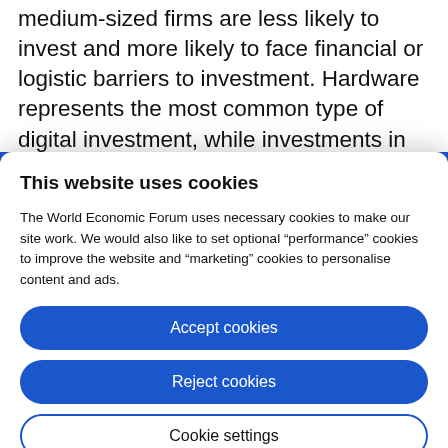medium-sized firms are less likely to invest and more likely to face financial or logistic barriers to investment. Hardware represents the most common type of digital investment, while investments in communication
This website uses cookies
The World Economic Forum uses necessary cookies to make our site work. We would also like to set optional “performance” cookies to improve the website and “marketing” cookies to personalise content and ads.
Accept cookies
Reject cookies
Cookie settings